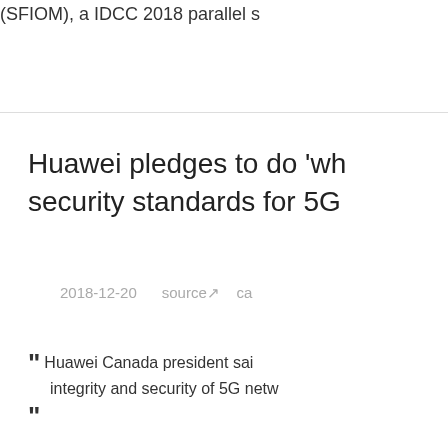(SFIOM), a IDCC 2018 parallel s
Huawei pledges to do 'whatever it takes' to meet security standards for 5G
2018-12-20    source↗    ca
“ Huawei Canada president said ... integrity and security of 5G netw... ”
China's three mobile carr
2018-12-20    source↗    E
“ China's three mobile carriers ... Unicom and China Telecom, fina... consolidation might bring...